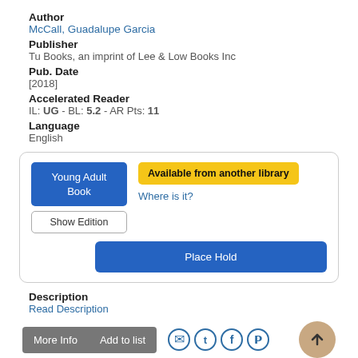Author
McCall, Guadalupe Garcia
Publisher
Tu Books, an imprint of Lee & Low Books Inc
Pub. Date
[2018]
Accelerated Reader
IL: UG - BL: 5.2 - AR Pts: 11
Language
English
Young Adult Book
Available from another library
Where is it?
Show Edition
Place Hold
Description
Read Description
More Info
Add to list
JOE R. LANSDALE